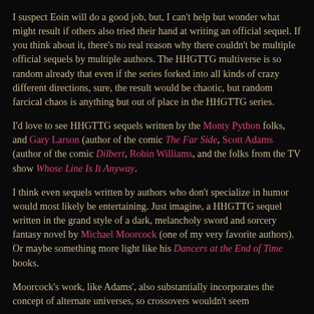I suspect Eoin will do a good job, but, I can't help but wonder what might result if others also tried their hand at writing an official sequel. If you think about it, there's no real reason why there couldn't be multiple official sequels by multiple authors. The HHGTTG multiverse is so random already that even if the series forked into all kinds of crazy different directions, sure, the result would be chaotic, but random farcical chaos is anything but out of place in the HHGTTG series.
I'd love to see HHGTTG sequels written by the Monty Python folks, and Gary Larson (author of the comic The Far Side, Scott Adams (author of the comic Dilbert, Robin Williams, and the folks from the TV show Whose Line Is It Anyway.
I think even sequels written by authors who don't specialize in humor would most likely be entertaining. Just imagine, a HHGTTG sequel written in the grand style of a dark, melancholy sword and sorcery fantasy novel by Michael Moorcock (one of my very favorite authors). Or maybe something more light like his Dancers at the End of Time books.
Moorcock's work, like Adams', also substantially incorporates the concept of alternate universes, so crossovers wouldn't seem